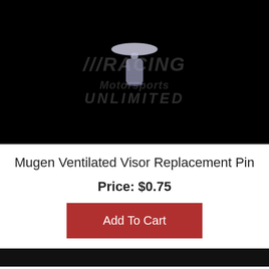[Figure (photo): Product photo of a small clear plastic visor replacement pin on a black background with a watermark logo reading 'RACING Motorsports UNLIMITED']
Mugen Ventilated Visor Replacement Pin
Price: $0.75
Add To Cart